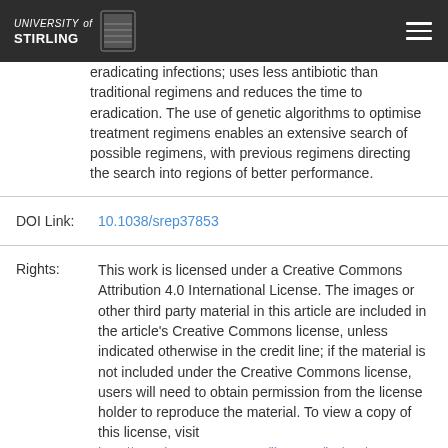UNIVERSITY of STIRLING
eradicating infections; uses less antibiotic than traditional regimens and reduces the time to eradication. The use of genetic algorithms to optimise treatment regimens enables an extensive search of possible regimens, with previous regimens directing the search into regions of better performance.
DOI Link: 10.1038/srep37853
Rights: This work is licensed under a Creative Commons Attribution 4.0 International License. The images or other third party material in this article are included in the article's Creative Commons license, unless indicated otherwise in the credit line; if the material is not included under the Creative Commons license, users will need to obtain permission from the license holder to reproduce the material. To view a copy of this license, visit http://creativecommons.org/licenses/by/4.0/